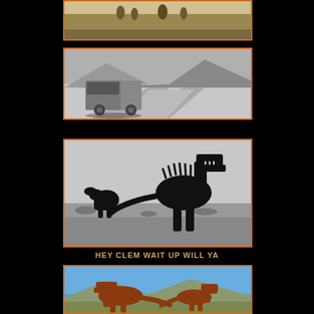[Figure (photo): Black and white photo of desert landscape with animals (possibly ostriches) in the background]
[Figure (photo): Black and white photo of an old truck or van driving on a winding desert road with mountains in background]
[Figure (photo): Black and white photo of two dinosaur silhouette sculptures in a desert landscape, one large T-Rex-like figure with open jaw and a smaller hunched dinosaur]
HEY CLEM WAIT UP WILL YA
[Figure (photo): Color photo of two rust-colored metal dinosaur sculptures facing each other outdoors, with blue sky and mountains in background]